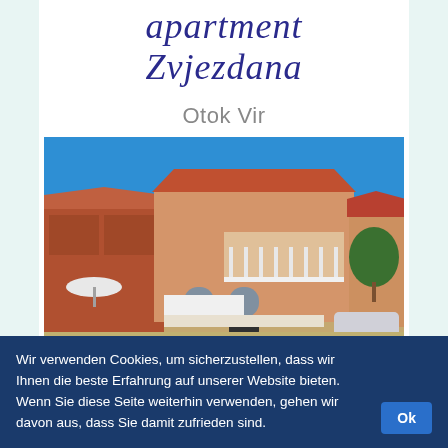Apartment Zvjezdana
Otok Vir
[Figure (photo): Exterior photo of Apartment Zvjezdana building on Otok Vir, Croatia. A two-storey stone and render building with terracotta roof and white balcony railings, under a clear blue sky. Adjacent brick construction visible on the left. Cars and trees in the foreground.]
Wir verwenden Cookies, um sicherzustellen, dass wir Ihnen die beste Erfahrung auf unserer Website bieten. Wenn Sie diese Seite weiterhin verwenden, gehen wir davon aus, dass Sie damit zufrieden sind.